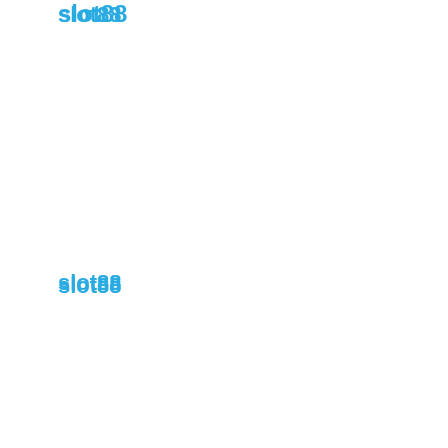slot88
slot88
slot pragmatic
bandarqq